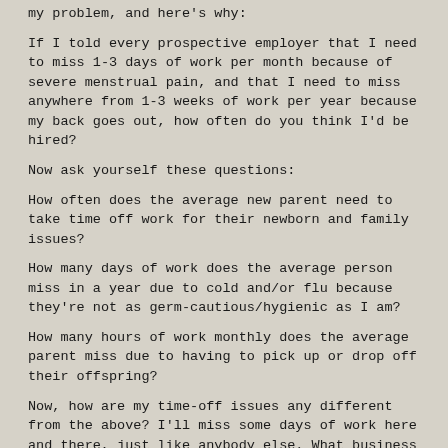my problem, and here's why:
If I told every prospective employer that I need to miss 1-3 days of work per month because of severe menstrual pain, and that I need to miss anywhere from 1-3 weeks of work per year because my back goes out, how often do you think I'd be hired?
Now ask yourself these questions:
How often does the average new parent need to take time off work for their newborn and family issues?
How many days of work does the average person miss in a year due to cold and/or flu because they're not as germ-cautious/hygienic as I am?
How many hours of work monthly does the average parent miss due to having to pick up or drop off their offspring?
Now, how are my time-off issues any different from the above? I'll miss some days of work here and there, just like anybody else. What business is it of theirs WHY I'll miss work?
Hmmm. Actually, I think I have my answer. What business is it of theirs, indeed!